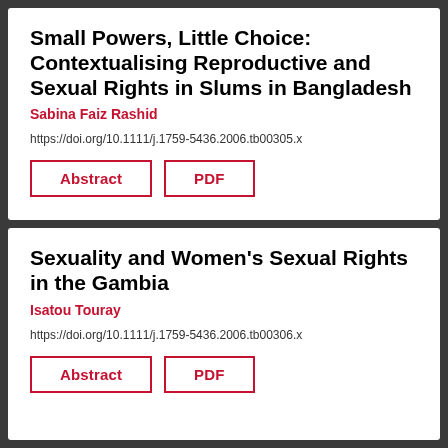Small Powers, Little Choice: Contextualising Reproductive and Sexual Rights in Slums in Bangladesh
Sabina Faiz Rashid
https://doi.org/10.1111/j.1759-5436.2006.tb00305.x
Sexuality and Women's Sexual Rights in the Gambia
Isatou Touray
https://doi.org/10.1111/j.1759-5436.2006.tb00306.x